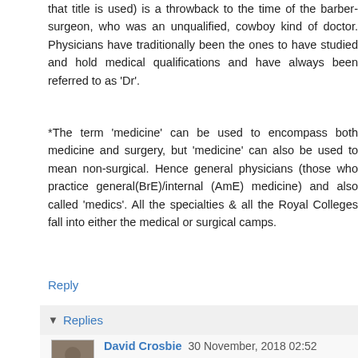that title is used) is a throwback to the time of the barber-surgeon, who was an unqualified, cowboy kind of doctor. Physicians have traditionally been the ones to have studied and hold medical qualifications and have always been referred to as 'Dr'.
*The term 'medicine' can be used to encompass both medicine and surgery, but 'medicine' can also be used to mean non-surgical. Hence general physicians (those who practice general(BrE)/internal (AmE) medicine) and also called 'medics'. All the specialties & all the Royal Colleges fall into either the medical or surgical camps.
Reply
Replies
David Crosbie 30 November, 2018 02:52
Similarly, if you were to see a gastroenterologist in the UK, you would be referred to Dr Guts, not Mr Entrails, as Gastroenterology is a medical